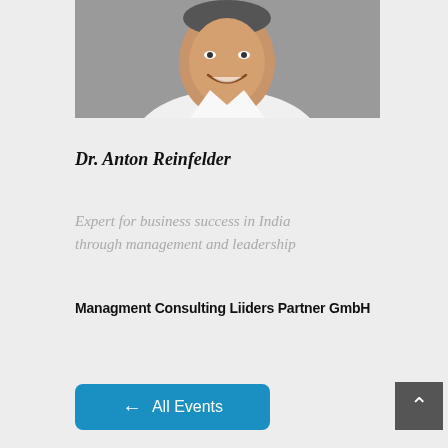[Figure (photo): Portrait photo of Dr. Anton Reinfelder, a smiling man in a white shirt against a gray background. Only the upper body and face are visible (cropped at top).]
Dr. Anton Reinfelder
Expert for business success in India through management and leadership
Managment Consulting Liiders Partner GmbH
← All Events
▲